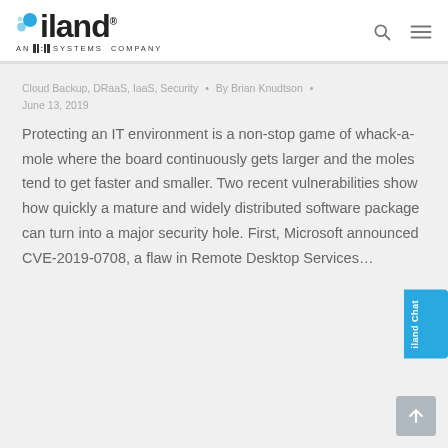[Figure (logo): iland logo with bubble icon and 'AN IEI SYSTEMS COMPANY' subtext, plus search and menu icons on the right]
Cloud Backup, DRaaS, IaaS, Security • By Brian Knudtson • June 13, 2019
Protecting an IT environment is a non-stop game of whack-a-mole where the board continuously gets larger and the moles tend to get faster and smaller. Two recent vulnerabilities show how quickly a mature and widely distributed software package can turn into a major security hole. First, Microsoft announced CVE-2019-0708, a flaw in Remote Desktop Services…